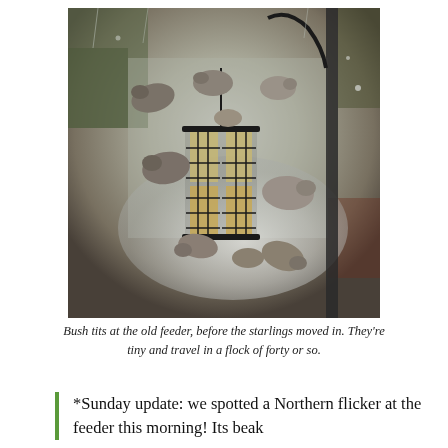[Figure (photo): Photograph of multiple bush tits (small brown-grey birds) crowded around a black wire suet cage bird feeder hanging from a metal pole with a large plastic dome/squirrel guard. The birds are small and numerous, perched on and around the feeder. Background shows greenery and outdoor garden setting in overcast/rainy conditions.]
Bush tits at the old feeder, before the starlings moved in. They're tiny and travel in a flock of forty or so.
*Sunday update: we spotted a Northern flicker at the feeder this morning! Its beak